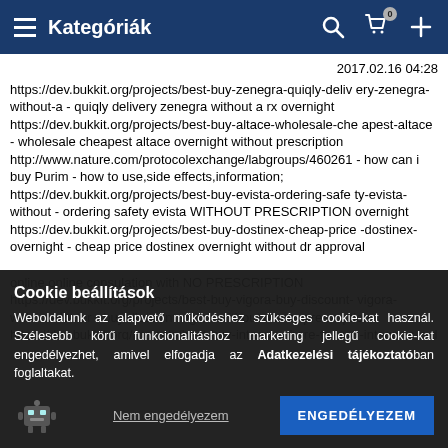Kategóriák
2017.02.16 04:28
https://dev.bukkit.org/projects/best-buy-zenegra-quiqly-deliv ery-zenegra-without-a - quiqly delivery zenegra without a rx overnight
https://dev.bukkit.org/projects/best-buy-altace-wholesale-che apest-altace - wholesale cheapest altace overnight without prescription
http://www.nature.com/protocolexchange/labgroups/460261 - how can i buy Purim - how to use,side effects,information;
https://dev.bukkit.org/projects/best-buy-evista-ordering-safe ty-evista-without - ordering safety evista WITHOUT PRESCRIPTION overnight
https://dev.bukkit.org/projects/best-buy-dostinex-cheap-price -dostinex-overnight - cheap price dostinex overnight without dr approval

online online consulation with NO PRESCRIPTION
https://dev.bukkit.org/projects/best-buy-vigora-buy-discount- vigora-without-doctor - buy discount vigora without doctor prescription
https://dev.bukkit.org/projects/best-buy-intagra-where-to-buy -intagra-c-o-d -
Cookie beállítások
Weboldalunk az alapvető működéshez szükséges cookie-kat használ. Szélesebb körű funkcionalitáshoz marketing jellegű cookie-kat engedélyezhet, amivel elfogadja az Adatkezelési tájékoztatóban foglaltakat.
Nem engedélyezem
ENGEDÉLYEZEM